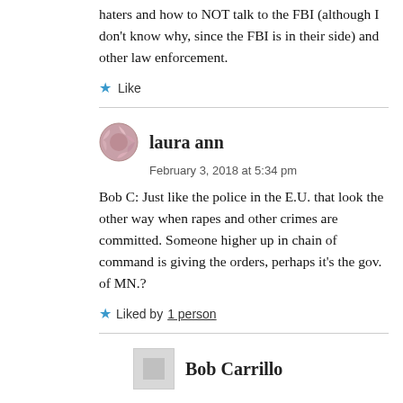haters and how to NOT talk to the FBI (although I don't know why, since the FBI is in their side) and other law enforcement.
Like
laura ann
February 3, 2018 at 5:34 pm
Bob C: Just like the police in the E.U. that look the other way when rapes and other crimes are committed. Someone higher up in chain of command is giving the orders, perhaps it’s the gov. of MN.?
Liked by 1 person
Bob Carrillo